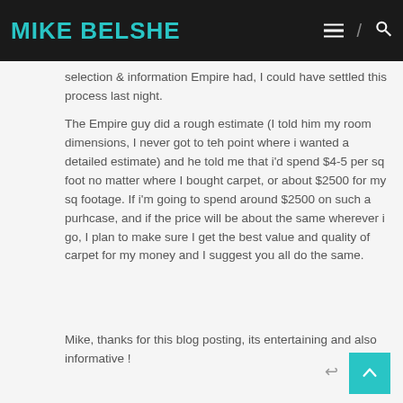MIKE BELSHE
selection & information Empire had, I could have settled this process last night.
The Empire guy did a rough estimate (I told him my room dimensions, I never got to teh point where i wanted a detailed estimate) and he told me that i'd spend $4-5 per sq foot no matter where I bought carpet, or about $2500 for my sq footage. If i'm going to spend around $2500 on such a purhcase, and if the price will be about the same wherever i go, I plan to make sure I get the best value and quality of carpet for my money and I suggest you all do the same.
Mike, thanks for this blog posting, its entertaining and also informative !